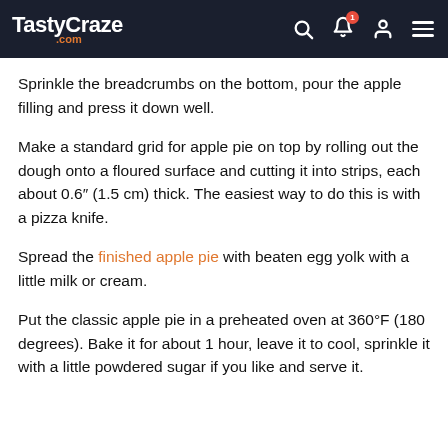TastyCraze.com
Sprinkle the breadcrumbs on the bottom, pour the apple filling and press it down well.
Make a standard grid for apple pie on top by rolling out the dough onto a floured surface and cutting it into strips, each about 0.6″ (1.5 cm) thick. The easiest way to do this is with a pizza knife.
Spread the finished apple pie with beaten egg yolk with a little milk or cream.
Put the classic apple pie in a preheated oven at 360°F (180 degrees). Bake it for about 1 hour, leave it to cool, sprinkle it with a little powdered sugar if you like and serve it.